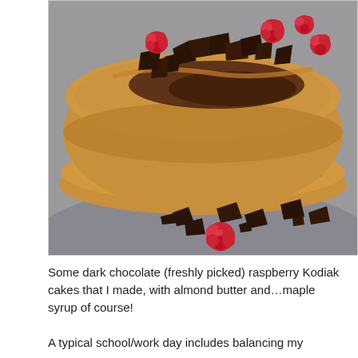[Figure (photo): Close-up photo of a stack of pancakes topped with dark chocolate pieces, raspberries, and chocolate sauce/almond butter, served on a grey plate with additional chocolate chunks and a raspberry scattered on the plate below.]
Some dark chocolate (freshly picked) raspberry Kodiak cakes that I made, with almond butter and…maple syrup of course!
A typical school/work day includes balancing my